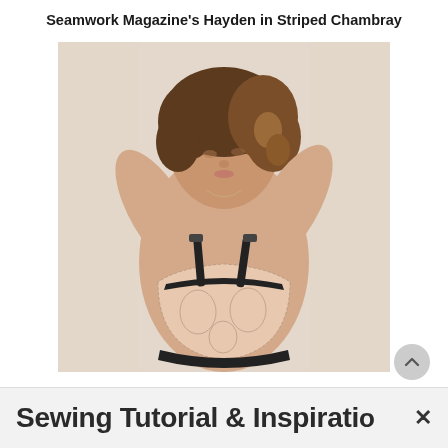Seamwork Magazine's Hayden in Striped Chambray
[Figure (photo): Woman with curly brown hair wearing a lace bralette with black straps and trim, hands raised behind her head, posed in front of sheer curtains.]
Sewing Tutorial & Inspiration